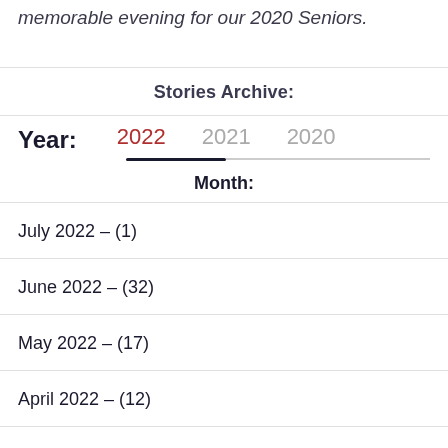memorable evening for our 2020 Seniors.
Stories Archive:
Year: 2022  2021  2020
Month:
July 2022 - (1)
June 2022 - (32)
May 2022 - (17)
April 2022 - (12)